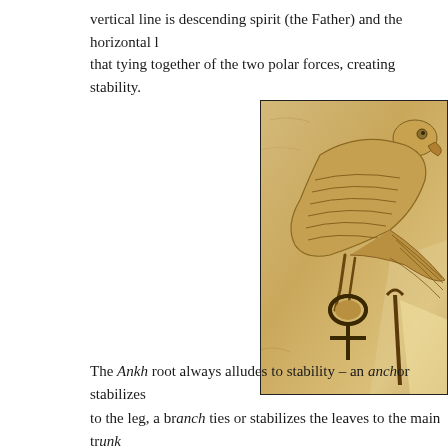vertical line is descending spirit (the Father) and the horizontal l… that tying together of the two polar forces, creating stability.
[Figure (photo): Stone relief carving showing an Egyptian falcon (Horus) holding an Ankh symbol in its talons, carved in sandy limestone.]
The Ankh root always alludes to stability – an anchor stabilizes … to the leg, a branch ties or stabilizes the leaves to the main trunk … to the main trunk or the trachea. I could go on, especially whe…